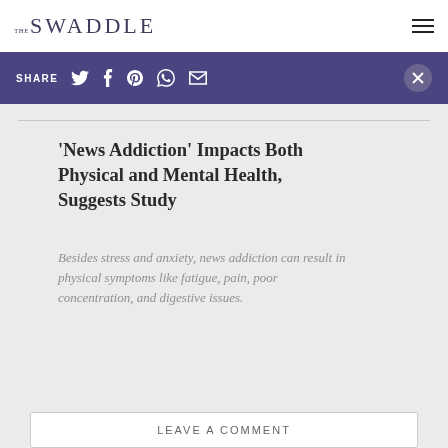THE SWADDLE
SHARE
‘News Addiction’ Impacts Both Physical and Mental Health, Suggests Study
Besides stress and anxiety, news addiction can result in physical symptoms like fatigue, pain, poor concentration, and digestive issues.
LEAVE A COMMENT